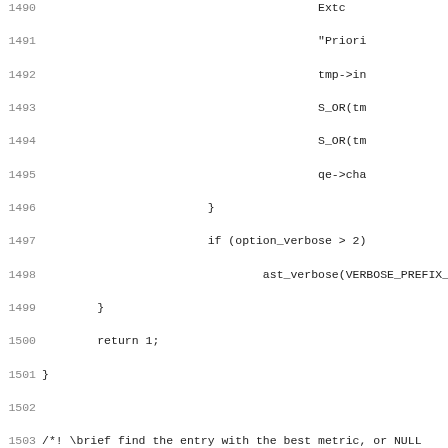[Figure (other): Source code listing in C, lines 1490-1522, showing functions including find_best() and ring_one() with struct callattempt and queue_ent parameters.]